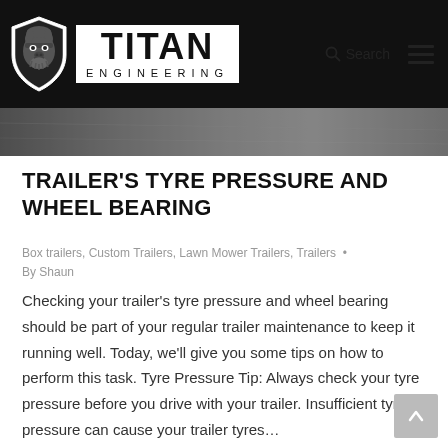[Figure (logo): Titan Engineering logo: shield with gorilla face icon on black background, next to TITAN ENGINEERING text in bold black on white]
[Figure (photo): Dark metallic hero banner image, horizontal strip showing a dark grunge/metal background]
TRAILER'S TYRE PRESSURE AND WHEEL BEARING
Box trailers, Custom Trailers, Lawn Mower Trailers, Trailers • By Shaun
Checking your trailer's tyre pressure and wheel bearing should be part of your regular trailer maintenance to keep it running well. Today, we'll give you some tips on how to perform this task. Tyre Pressure Tip: Always check your tyre pressure before you drive with your trailer. Insufficient tyre pressure can cause your trailer tyres…